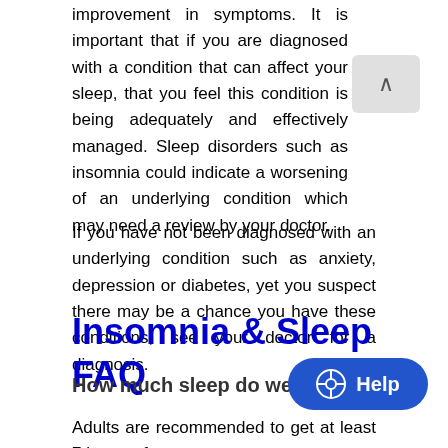improvement in symptoms. It is important that if you are diagnosed with a condition that can affect your sleep, that you feel this condition is being adequately and effectively managed. Sleep disorders such as insomnia could indicate a worsening of an underlying condition which may need a review by your doctor.
If you have not been diagnosed with an underlying condition such as anxiety, depression or diabetes, yet you suspect there may be a chance you have these conditions, see your doctor for a diagnosis.
Insomnia & Sleep FAQ
How much sleep do we need?
Adults are recommended to get at least 7 hours of